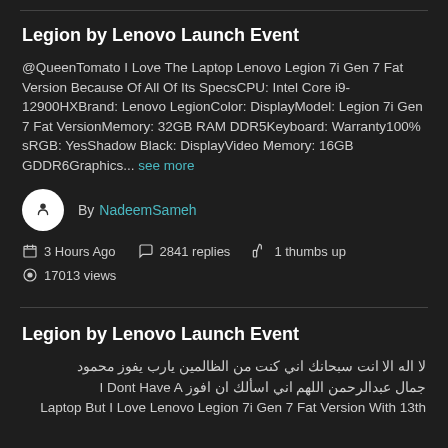Legion by Lenovo Launch Event
@QueenTomato I Love The Laptop Lenovo Legion 7i Gen 7 Fat Version Because Of All Of Its SpecsCPU: Intel Core i9-12900HXBrand: Lenovo LegionColor: DisplayModel: Legion 7i Gen 7 Fat VersionMemory: 32GB RAM DDR5Keyboard: Warranty100% sRGB: YesShadow Black: DisplayVideo Memory: 16GB GDDR6Graphics... see more
By NadeemSameh
3 Hours Ago  2841 replies  1 thumbs up
17013 views
Legion by Lenovo Launch Event
لا اله الا انت سبحانك اني كنت من الظالمين يارب يفوز محمود جمال عبدالرحمن اللهم اني اسألك ان افوز I Dont Have A Laptop But I Love Lenovo Legion 7i Gen 7 Fat Version With 13th